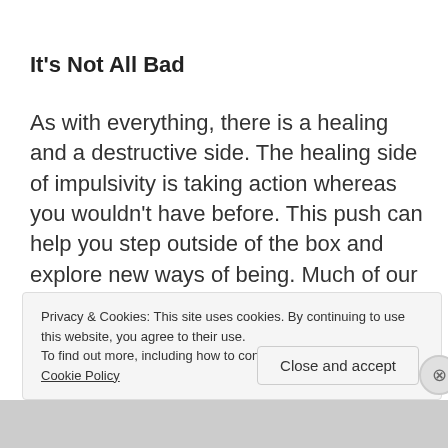It's Not All Bad
As with everything, there is a healing and a destructive side. The healing side of impulsivity is taking action whereas you wouldn't have before. This push can help you step outside of the box and explore new ways of being. Much of our intuition and gut feelings lead us to take immediate
Privacy & Cookies: This site uses cookies. By continuing to use this website, you agree to their use.
To find out more, including how to control cookies, see here: Cookie Policy
Close and accept